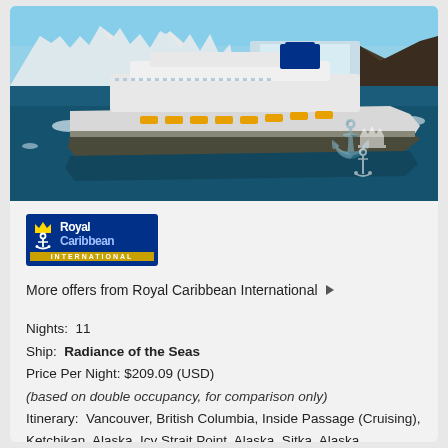[Figure (photo): Aerial view of a Royal Caribbean cruise ship (Radiance of the Seas) sailing through Alaskan glacial waters with snow-capped mountains and icebergs in the background. Royal Caribbean crown anchor logo watermark visible in lower right.]
[Figure (logo): Royal Caribbean International logo — blue background with gold crown and anchor icon, white text 'RoyalCaribbean', gold bar with 'INTERNATIONAL' text.]
More offers from Royal Caribbean International ▶
Nights:  11
Ship:  Radiance of the Seas
Price Per Night: $209.09 (USD)
(based on double occupancy, for comparison only)
Itinerary:  Vancouver, British Columbia, Inside Passage (Cruising), Ketchikan, Alaska, Icy Strait Point, Alaska, Sitka, Alaska, Skagway, Alaska, Hubbard Glacier (Cruising), Seward, Alaska, Alyeska